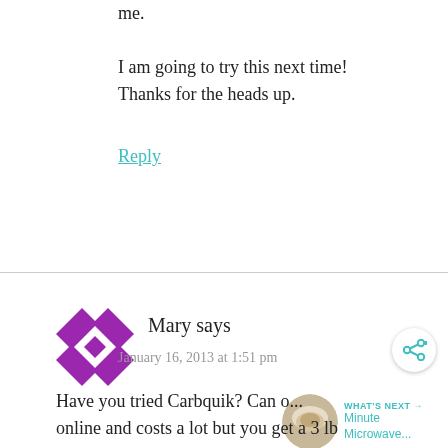me.
I am going to try this next time! Thanks for the heads up.
Reply
[Figure (illustration): Purple geometric/quilt-pattern avatar icon for commenter Mary]
Mary says
January 16, 2013 at 1:51 pm
[Figure (other): Share button icon (circle with share symbol)]
[Figure (other): What's Next thumbnail - Minute Microwave... with circular food photo]
Have you tried Carbquik? Can o... online and costs a lot but you get a 3 lb